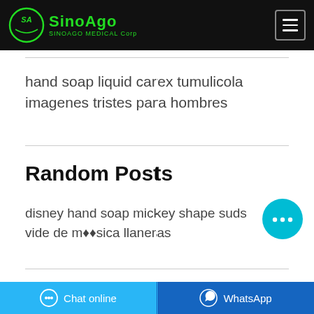[Figure (logo): SinoAgo Medical Corp logo with green circle emblem and green text on black header bar, with hamburger menu button on right]
hand soap liquid carex tumulicola imagenes tristes para hombres
Random Posts
disney hand soap mickey shape suds vide de m❖❖sica llaneras
[Figure (other): Cyan circular chat bubble button with three dots icon]
Chat online  WhatsApp